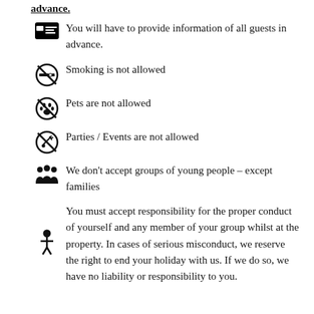You will have to provide information of all guests in advance.
Smoking is not allowed
Pets are not allowed
Parties / Events are not allowed
We don't accept groups of young people – except families
You must accept responsibility for the proper conduct of yourself and any member of your group whilst at the property. In cases of serious misconduct, we reserve the right to end your holiday with us. If we do so, we have no liability or responsibility to you.